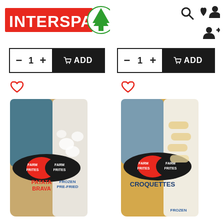[Figure (logo): INTERSPAR logo with red background and green tree icon]
[Figure (infographic): Navigation icons: search, heart/favorites, user profile, add user]
[Figure (infographic): Add to cart widget 1: minus button, quantity 1, plus button, cart ADD button]
[Figure (infographic): Add to cart widget 2: minus button, quantity 1, plus button, cart ADD button]
[Figure (photo): Farm Frites Patata Brava frozen pre-fried product bag]
[Figure (photo): Farm Frites Croquettes frozen product bag]